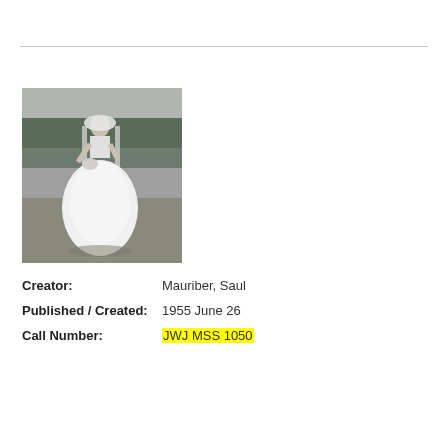De Lavallade, Carmen
[Figure (photo): Black and white photograph of Carmen De Lavallade in a white wedding dress and veil, standing outdoors with trees in the background.]
Creator: Mauriber, Saul
Published / Created: 1955 June 26
Call Number: JWJ MSS 1050